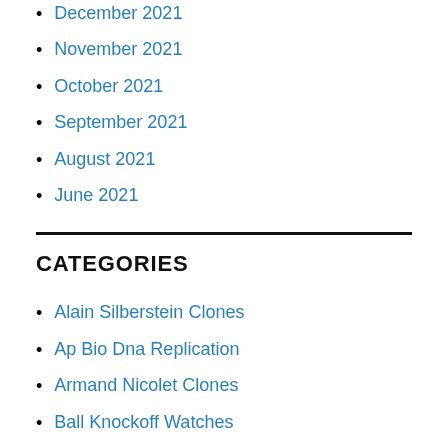December 2021
November 2021
October 2021
September 2021
August 2021
June 2021
CATEGORIES
Alain Silberstein Clones
Ap Bio Dna Replication
Armand Nicolet Clones
Ball Knockoff Watches
Baume Mercier Fakes Watch